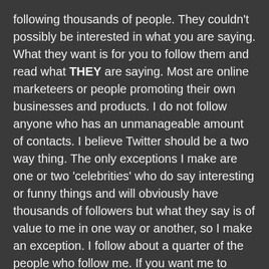following thousands of people. They couldn't possibly be interested in what you are saying. What they want is for you to follow them and read what THEY are saying. Most are online marketeers or people promoting their own businesses and products. I do not follow anyone who has an unmanageable amount of contacts. I believe Twitter should be a two way thing. The only exceptions I make are one or two 'celebrities' who do say interesting or funny things and will obviously have thousands of followers but what they say is of value to me in one way or another, so I make an exception. I follow about a quarter of the people who follow me. If you want me to follow you, then you have to be saying things that are interesting, useful, humorous and so on (and I don't follow anyone who uses foul language or tells off-colour jokes).
Now we come to its benefits for us as photographers. As with many forms of Social Networking, Twitter has given us the ability to be put in direct contact with many like minded